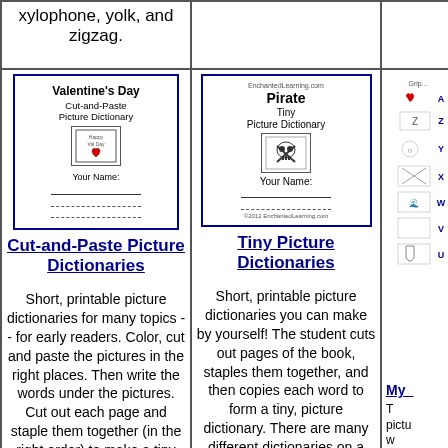xylophone, yolk, and zigzag.
[Figure (illustration): Cover of Valentine's Day Cut-and-Paste Picture Dictionary with a small heart illustration and 'Your Name' line]
Cut-and-Paste Picture Dictionaries
Short, printable picture dictionaries for many topics -- for early readers. Color, cut and paste the pictures in the right places. Then write the words under the pictures. Cut out each page and staple them together (in the right order) to make a tiny book.
[Figure (illustration): Cover of Pirate Tiny Picture Dictionary with skull and crossbones illustration and 'Your Name' line]
Tiny Picture Dictionaries
Short, printable picture dictionaries you can make by yourself! The student cuts out pages of the book, staples them together, and then copies each word to form a tiny, picture dictionary. There are many different dictionaries on a wide variety of topics.
[Figure (illustration): Partial view of alphabet picture dictionary pages showing letters A, Z, Y, X, W, V, U with small drawings]
My_ ...